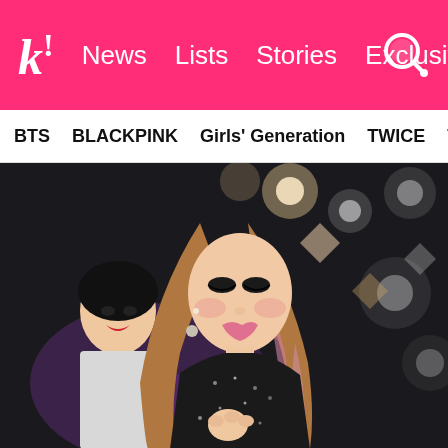k! News  Lists  Stories  Exclusives
BTS  BLACKPINK  Girls' Generation  TWICE  TXT  SEVE
[Figure (photo): K-pop performer with long brown/pink-highlighted hair wearing a black sparkly outfit performing on stage. Bokeh stage lights in background. Another performer in white visible behind her.]